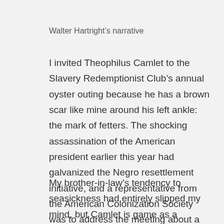Walter Hartright’s narrative
I invited Theophilus Camlet to the Slavery Redemptionist Club’s annual oyster outing because he has a brown scar like mine around his left ankle: the mark of fetters. The shocking assassination of the American president earlier this year had galvanized the Negro resettlement initiative, and a representative from the American Colonization Society was to address the meeting about a colony of freed slaves on the western coast of Africa.
My brother-in-law’s tendency to seasickness had entirely slipped my mind, but Camlet is game as a pebble. He assured me that the motion of a chartered paddle steamship in a flat calm would not discomfit